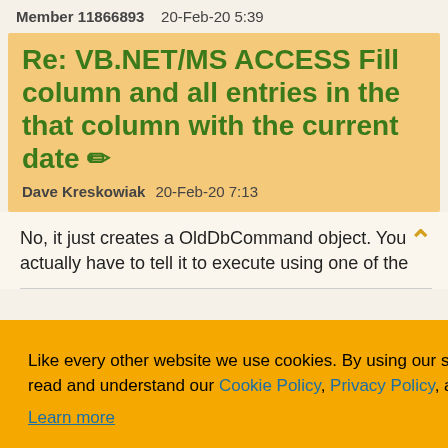Member 11866893    20-Feb-20 5:39
Re: VB.NET/MS ACCESS Fill column and all entries in the that column with the current date
Dave Kreskowiak    20-Feb-20 7:13
No, it just creates a OldDbCommand object. You actually have to tell it to execute using one of the
Like every other website we use cookies. By using our site you acknowledge that you have read and understand our Cookie Policy, Privacy Policy, and our Terms of Service.
Learn more
0/5 (1 vote)